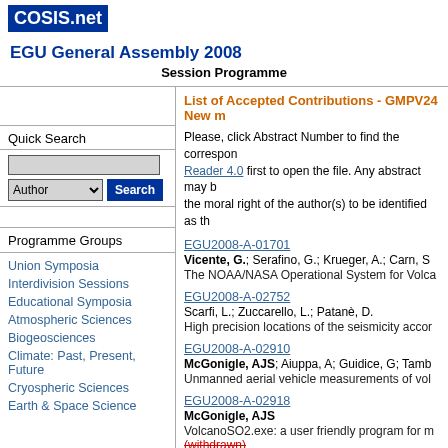COSIS.net
EGU General Assembly 2008
Session Programme
Quick Search
Programme Groups
Union Symposia
Interdivision Sessions
Educational Symposia
Atmospheric Sciences
Biogeosciences
Climate: Past, Present, Future
Cryospheric Sciences
Earth & Space Science
List of Accepted Contributions - GMPV24 New m
Please, click Abstract Number to find the corresponding abstract. Reader 4.0 first to open the file. Any abstract may b the moral right of the author(s) to be identified as th
EGU2008-A-01701
Vicente, G.; Serafino, G.; Krueger, A.; Carn, S
The NOAA/NASA Operational System for Volca
EGU2008-A-02752
Scarfi, L.; Zuccarello, L.; Patanè, D.
High precision locations of the seismicity accor
EGU2008-A-02910
McGonigle, AJS; Aiuppa, A; Guidice, G; Tamb
Unmanned aerial vehicle measurements of vol
EGU2008-A-02918
McGonigle, AJS
VolcanoSO2.exe: a user friendly program for m
(withdrawn)